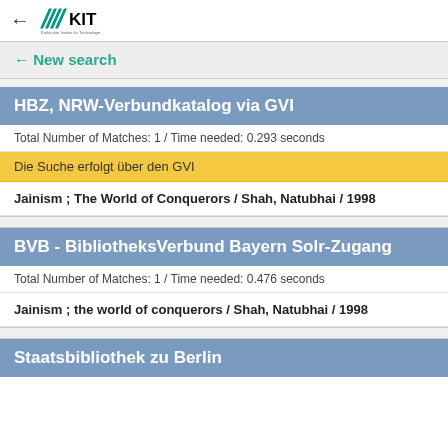← KIT - Karlsruher Institut für Technologie
← New search
HBZ, NRW-Verbundkatalog via GVI
Total Number of Matches: 1 / Time needed: 0.293 seconds
Die Suche erfolgt über den GVI
Jainism ; The World of Conquerors / Shah, Natubhai / 1998
BVB - BibliotheksVerbund Bayern Solr-Zugang
Total Number of Matches: 1 / Time needed: 0.476 seconds
Jainism ; the world of conquerors / Shah, Natubhai / 1998
Staatsbibliothek zu Berlin